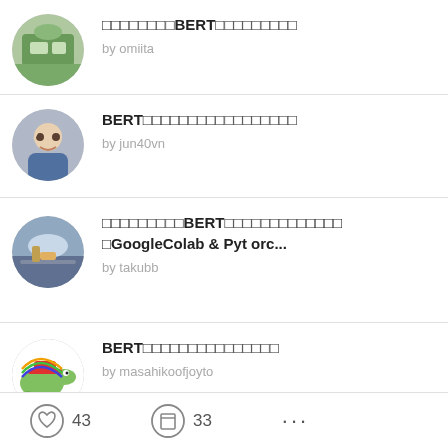□□□□□□□□BERT□□□□□□□□□ by omiita
BERT□□□□□□□□□□□□□□□□□ by jun40vn
□□□□□□□□□BERT□□□□□□□□□□□□□ □GoogleColab & Pyt orc... by takubb
BERT□□□□□□□□□□□□□□□ by masahikoofjoyto
15□□□□□180cm□□□□!?□□□□□□□□□□□□□□□□□□□□□□□□□□□□
43  33  ...